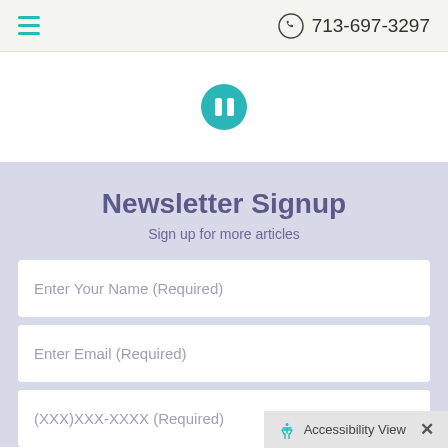713-697-3297
[Figure (other): Pause button — teal circle with two white vertical bars]
Newsletter Signup
Sign up for more articles
Enter Your Name (Required)
Enter Email (Required)
(XXX)XXX-XXXX (Required)
Accessibility View